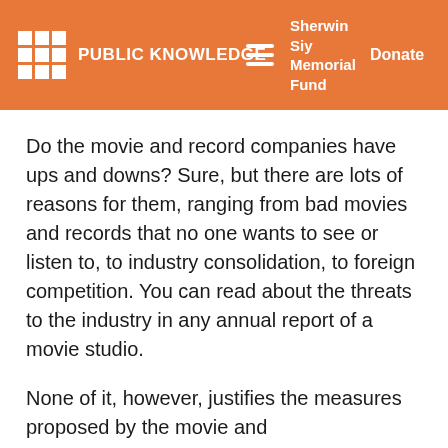PUBLIC KNOWLEDGE | Sherwin Siy Memorial Fund | Donate
Do the movie and record companies have ups and downs? Sure, but there are lots of reasons for them, ranging from bad movies and records that no one wants to see or listen to, to industry consolidation, to foreign competition. You can read about the threats to the industry in any annual report of a movie studio.
None of it, however, justifies the measures proposed by the movie and